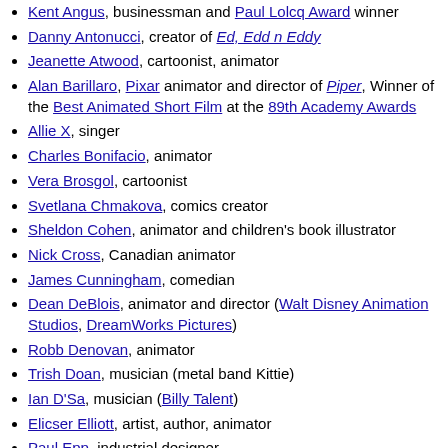Kent Angus, businessman and Paul Lolcq Award winner
Danny Antonucci, creator of Ed, Edd n Eddy
Jeanette Atwood, cartoonist, animator
Alan Barillaro, Pixar animator and director of Piper, Winner of the Best Animated Short Film at the 89th Academy Awards
Allie X, singer
Charles Bonifacio, animator
Vera Brosgol, cartoonist
Svetlana Chmakova, comics creator
Sheldon Cohen, animator and children's book illustrator
Nick Cross, Canadian animator
James Cunningham, comedian
Dean DeBlois, animator and director (Walt Disney Animation Studios, DreamWorks Pictures)
Robb Denovan, animator
Trish Doan, musician (metal band Kittie)
Ian D'Sa, musician (Billy Talent)
Elicser Elliott, artist, author, animator
Paul Epp, industrial designer
Tom Freda, photographer, activist
Michel Gagné, animator
Wayne Gilbert, animator
Paul Gilligan, comic strip writer
Christopher Guinness, art director, animator, multi-Addy Award Winner